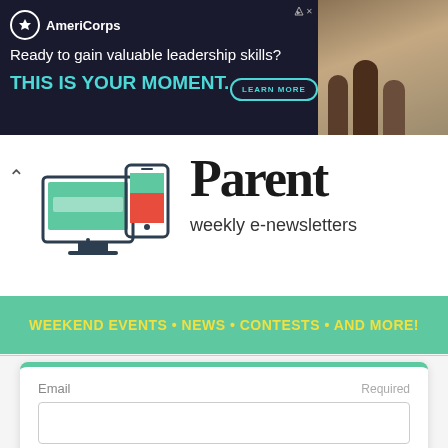[Figure (illustration): AmeriCorps advertisement banner with dark background, text 'Ready to gain valuable leadership skills? THIS IS YOUR MOMENT.' with a teal LEARN MORE button and a photo of youth on the right.]
[Figure (logo): Parent weekly e-newsletters logo with device icons (desktop and mobile) on the left and bold serif 'Parent' text with 'weekly e-newsletters' below on the right.]
WEEKEND EVENTS • NEWS • CONTESTS • AND MORE!
Email
Required
SUBSCRIBE